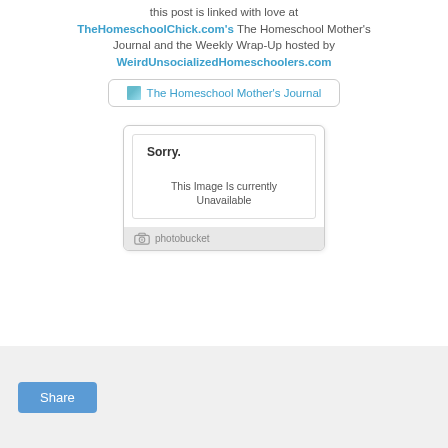this post is linked with love at TheHomeschoolChick.com's The Homeschool Mother's Journal and the Weekly Wrap-Up hosted by WeirdUnsocializedHomeschoolers.com
[Figure (other): Badge/button placeholder reading 'The Homeschool Mother's Journal' with broken image indicator inside a rounded rectangle border]
[Figure (other): Photobucket image unavailability card showing 'Sorry. This Image Is currently Unavailable' with photobucket logo footer]
Share